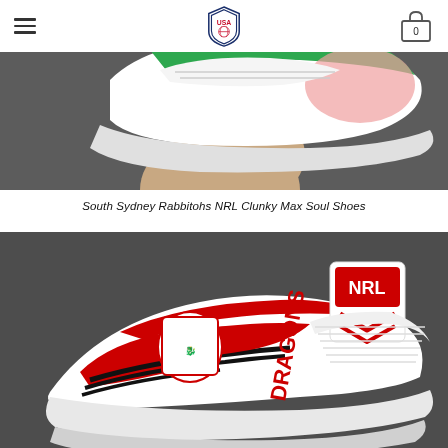USA [logo] — hamburger menu and cart (0)
[Figure (photo): Hand holding a green and white South Sydney Rabbitohs NRL Clunky Max Soul Shoe against a dark grey background]
South Sydney Rabbitohs NRL Clunky Max Soul Shoes
[Figure (photo): Red, black and white St George Dragons NRL Clunky Max Soul Shoe with NRL logo on tongue, on a dark grey background]